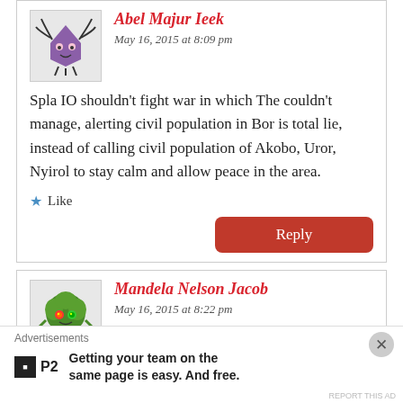Abel Majur Ieek
May 16, 2015 at 8:09 pm
Spla IO shouldn't fight war in which The couldn't manage, alerting civil population in Bor is total lie, instead of calling civil population of Akobo, Uror, Nyirol to stay calm and allow peace in the area.
Like
Reply
Mandela Nelson Jacob
May 16, 2015 at 8:22 pm
Advertisements
Getting your team on the same page is easy. And free.